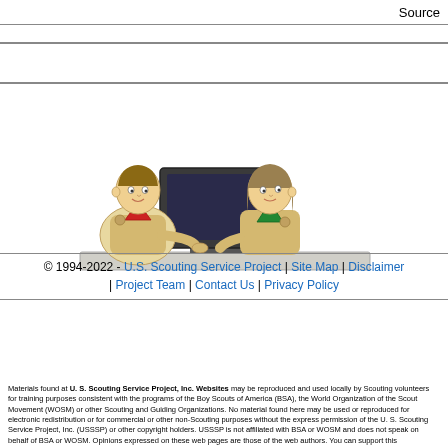Source
[Figure (illustration): Cartoon illustration of two Boy Scouts in uniform sitting at a desk with a computer monitor between them. The scout on the left wears a red neckerchief and the one on the right wears a green neckerchief.]
© 1994-2022 - U.S. Scouting Service Project | Site Map | Disclaimer | Project Team | Contact Us | Privacy Policy
Materials found at U. S. Scouting Service Project, Inc. Websites may be reproduced and used locally by Scouting volunteers for training purposes consistent with the programs of the Boy Scouts of America (BSA), the World Organization of the Scout Movement (WOSM) or other Scouting and Guiding Organizations. No material found here may be used or reproduced for electronic redistribution or for commercial or other non-Scouting purposes without the express permission of the U. S. Scouting Service Project, Inc. (USSSP) or other copyright holders. USSSP is not affiliated with BSA or WOSM and does not speak on behalf of BSA or WOSM. Opinions expressed on these web pages are those of the web authors. You can support this